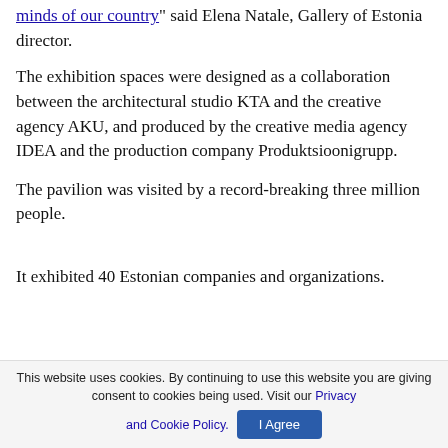...minds of our country" said Elena Natale, Gallery of Estonia director.
The exhibition spaces were designed as a collaboration between the architectural studio KTA and the creative agency AKU, and produced by the creative media agency IDEA and the production company Produktsioonigrupp.
The pavilion was visited by a record-breaking three million people.
It exhibited 40 Estonian companies and organizations.
This website uses cookies. By continuing to use this website you are giving consent to cookies being used. Visit our Privacy and Cookie Policy. I Agree